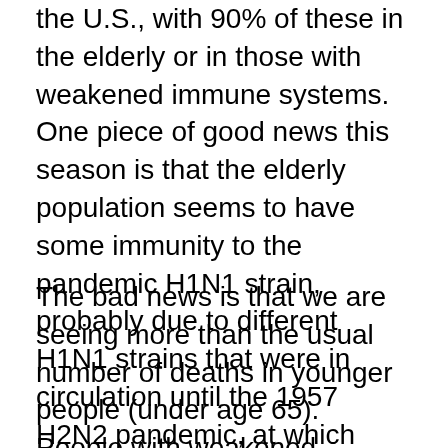the U.S., with 90% of these in the elderly or in those with weakened immune systems. One piece of good news this season is that the elderly population seems to have some immunity to the pandemic H1N1 strain, probably due to different H1N1 strains that were in circulation until the 1957 H2N2 pandemic, at which time H2N2 replaced H1N1 as the seasonal strain. So, we are seeing far fewer total deaths, just over 1,000 (but perhaps as high as 3,000, according to other CDC data not currently publicized) since the pandemic started.
The bad news is that we are seeing more than the usual number of deaths in younger people (under age 65). People with weakened immune systems are still dying disproportionately, and we are seeing more than the usual number of deaths in previously healthy individuals including children and pregnant women.